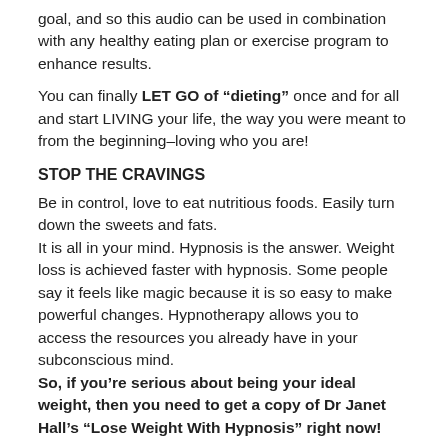goal, and so this audio can be used in combination with any healthy eating plan or exercise program to enhance results.
You can finally LET GO of “dieting” once and for all and start LIVING your life, the way you were meant to from the beginning–loving who you are!
STOP THE CRAVINGS
Be in control, love to eat nutritious foods. Easily turn down the sweets and fats.
It is all in your mind. Hypnosis is the answer. Weight loss is achieved faster with hypnosis. Some people say it feels like magic because it is so easy to make powerful changes. Hypnotherapy allows you to access the resources you already have in your subconscious mind. So, if you’re serious about being your ideal weight, then you need to get a copy of Dr Janet Hall’s “Lose Weight With Hypnosis” right now!
This is one of a series of hypnosis audios presented by Dr Janet Hall called: